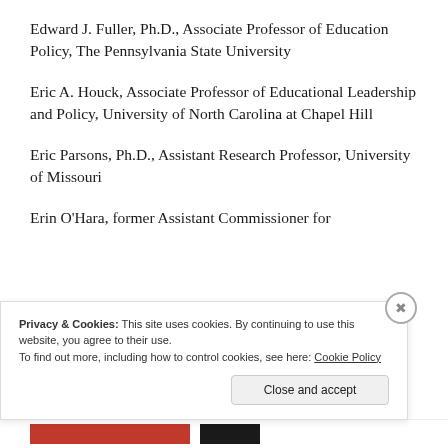Edward J. Fuller, Ph.D., Associate Professor of Education Policy, The Pennsylvania State University
Eric A. Houck, Associate Professor of Educational Leadership and Policy, University of North Carolina at Chapel Hill
Eric Parsons, Ph.D., Assistant Research Professor, University of Missouri
Erin O’Hara, former Assistant Commissioner for
Privacy & Cookies: This site uses cookies. By continuing to use this website, you agree to their use. To find out more, including how to control cookies, see here: Cookie Policy